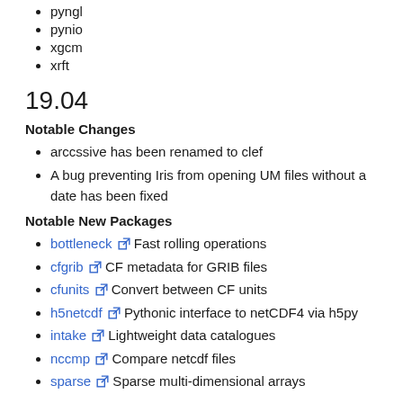pyngl
pynio
xgcm
xrft
19.04
Notable Changes
arccssive has been renamed to clef
A bug preventing Iris from opening UM files without a date has been fixed
Notable New Packages
bottleneck  Fast rolling operations
cfgrib  CF metadata for GRIB files
cfunits  Convert between CF units
h5netcdf  Pythonic interface to netCDF4 via h5py
intake  Lightweight data catalogues
nccmp  Compare netcdf files
sparse  Sparse multi-dimensional arrays